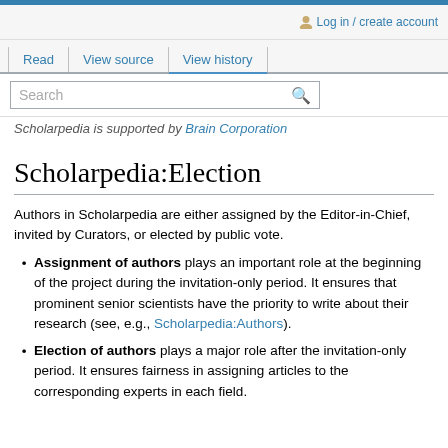Log in / create account
Read | View source | View history
Scholarpedia is supported by Brain Corporation
Scholarpedia:Election
Authors in Scholarpedia are either assigned by the Editor-in-Chief, invited by Curators, or elected by public vote.
Assignment of authors plays an important role at the beginning of the project during the invitation-only period. It ensures that prominent senior scientists have the priority to write about their research (see, e.g., Scholarpedia:Authors).
Election of authors plays a major role after the invitation-only period. It ensures fairness in assigning articles to the corresponding experts in each field.